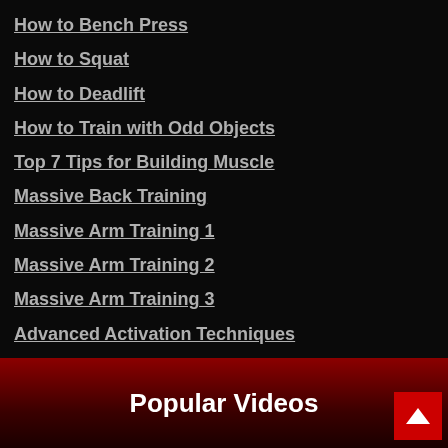How to Bench Press
How to Squat
How to Deadlift
How to Train with Odd Objects
Top 7 Tips for Building Muscle
Massive Back Training
Massive Arm Training 1
Massive Arm Training 2
Massive Arm Training 3
Advanced Activation Techniques
Speed Training for Athletes
Perfect Workout for Travelers
Popular Videos